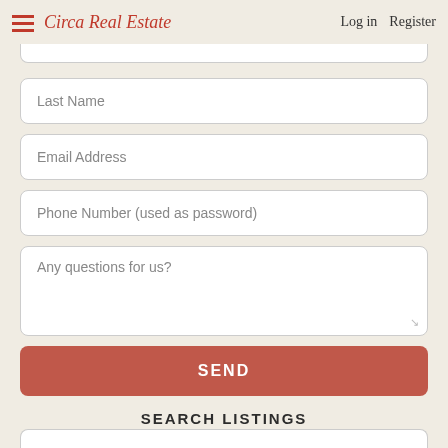Circa Real Estate  Log in  Register
Last Name
Email Address
Phone Number (used as password)
Any questions for us?
SEND
SEARCH LISTINGS
FOR SALE  |  FOR RENT